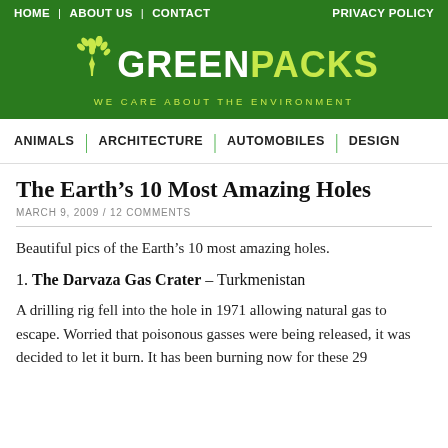HOME | ABOUT US | CONTACT | PRIVACY POLICY
[Figure (logo): Green Packs logo — white text 'GREEN' and lime text 'PACKS' with a tree/leaf icon; tagline 'WE CARE ABOUT THE ENVIRONMENT' in lime on dark green background]
ANIMALS | ARCHITECTURE | AUTOMOBILES | DESIGN
The Earth's 10 Most Amazing Holes
MARCH 9, 2009 / 12 COMMENTS
Beautiful pics of the Earth's 10 most amazing holes.
1. The Darvaza Gas Crater – Turkmenistan
A drilling rig fell into the hole in 1971 allowing natural gas to escape. Worried that poisonous gasses were being released, it was decided to let it burn. It has been burning now for these 29